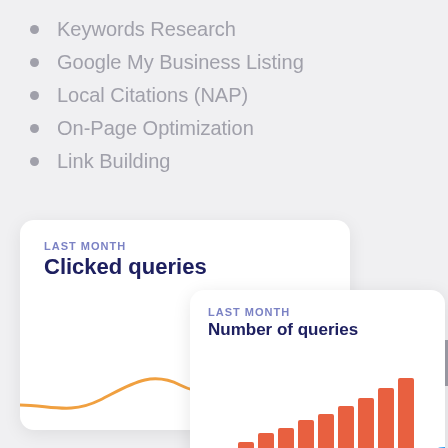Keywords Research
Google My Business Listing
Local Citations (NAP)
On-Page Optimization
Link Building
[Figure (line-chart): Card showing 'LAST MONTH - Clicked queries' with an orange/red wavy line chart]
[Figure (bar-chart): Card showing 'LAST MONTH - Number of queries' with orange/red vertical bar chart, partially overlapping the first card]